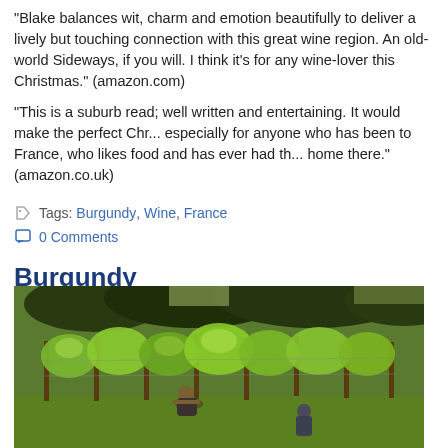"Blake balances wit, charm and emotion beautifully to deliver a lively but touching connection with this great wine region. An old-world Sideways, if you will. I think it's for any wine-lover this Christmas." (amazon.com)
"This is a suburb read; well written and entertaining. It would make the perfect Chr... especially for anyone who has been to France, who likes food and has ever had th... home there." (amazon.co.uk)
Tags: Burgundy, Wine, France
0 Comments
Burgundy
15 April 2014 Filed in: Travel Food & Wine
[Figure (photo): Two people working among green grapevines in a vineyard, with wooden posts visible and lush foliage in the background on a sunny day.]